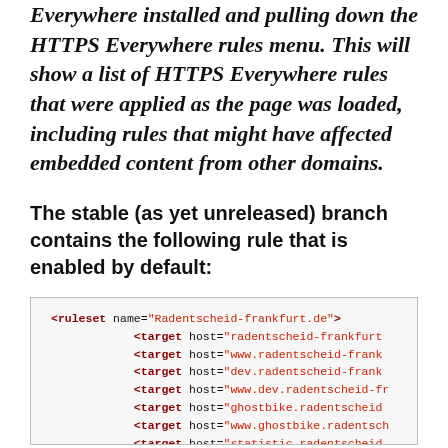Everywhere installed and pulling down the HTTPS Everywhere rules menu. This will show a list of HTTPS Everywhere rules that were applied as the page was loaded, including rules that might have affected embedded content from other domains.
The stable (as yet unreleased) branch contains the following rule that is enabled by default:
[Figure (screenshot): Code block showing XML ruleset for Radentscheid-frankfurt.de with multiple target hosts and a rule element]